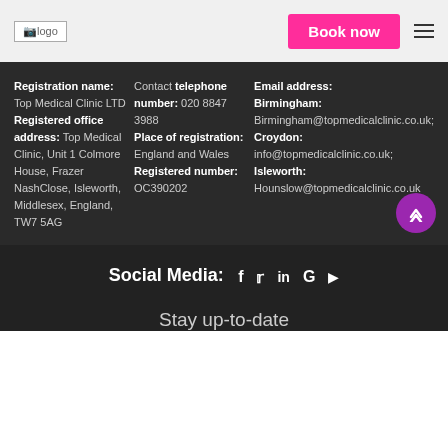[Figure (logo): Logo placeholder image with text 'logo']
Book now
Registration name: Top Medical Clinic LTD
Registered office address: Top Medical Clinic, Unit 1 Colmore House, Frazer NashClose, Isleworth, Middlesex, England, TW7 5AG
Contact telephone number: 020 8847 3988
Place of registration: England and Wales
Registered number: OC390202
Email address:
Birmingham: Birmingham@topmedicalclinic.co.uk;
Croydon: info@topmedicalclinic.co.uk;
Isleworth: Hounslow@topmedicalclinic.co.uk
Social Media: f  y  in  G  ▶
Stay up-to-date